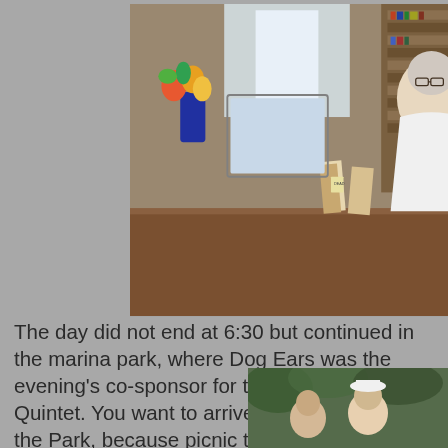[Figure (photo): Person sitting at a wooden desk in a bookstore or library setting, with books, a computer monitor, and floral arrangement visible in the background.]
The day did not end at 6:30 but continued in the marina park, where Dog Ears was the evening's co-sponsor for the Steve Sandler Quintet. You want to arrive early for Music in the Park, because picnic tables go fast. Some people come every week and bring their own tables and tablecloths as well as elaborate picnic dinner. It's a multigenerational event, with attendees from tiny babies to our oldest citizens. Children climb up and perch on the big branches of the old willow trees, catching the breeze.
[Figure (photo): Partial photo visible at bottom right, appears to show people outdoors among trees or foliage.]